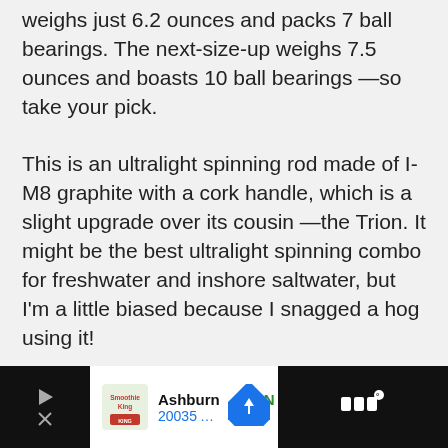weighs just 6.2 ounces and packs 7 ball bearings. The next-size-up weighs 7.5 ounces and boasts 10 ball bearings —so take your pick.
This is an ultralight spinning rod made of I-M8 graphite with a cork handle, which is a slight upgrade over its cousin —the Trion. It might be the best ultralight spinning combo for freshwater and inshore saltwater, but I'm a little biased because I snagged a hog using it!
[Figure (other): Advertisement banner at the bottom of the page showing a Smoothie King location in Ashburn with OPEN 8AM-8PM, address 20035 Ashbrook Commons Plaza, Unit, with navigation arrow icon, on a dark background.]